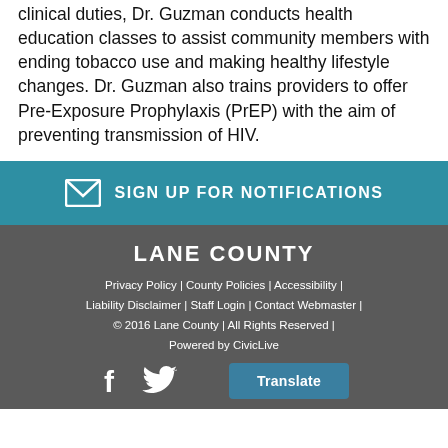clinical duties, Dr. Guzman conducts health education classes to assist community members with ending tobacco use and making healthy lifestyle changes. Dr. Guzman also trains providers to offer Pre-Exposure Prophylaxis (PrEP) with the aim of preventing transmission of HIV.
SIGN UP FOR NOTIFICATIONS
LANE COUNTY
Privacy Policy | County Policies | Accessibility | Liability Disclaimer | Staff Login | Contact Webmaster | © 2016 Lane County | All Rights Reserved | Powered by CivicLive
[Figure (other): Facebook and Twitter social media icons, and a Translate button]